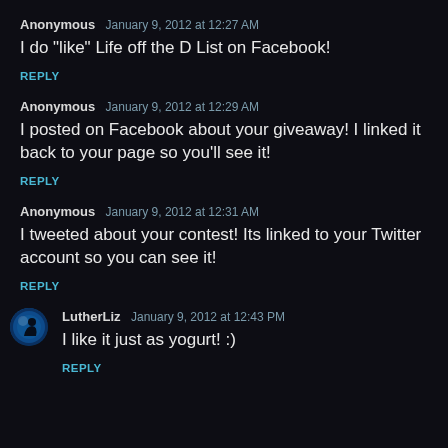Anonymous   January 9, 2012 at 12:27 AM
I do "like" Life off the D List on Facebook!
REPLY
Anonymous   January 9, 2012 at 12:29 AM
I posted on Facebook about your giveaway! I linked it back to your page so you'll see it!
REPLY
Anonymous   January 9, 2012 at 12:31 AM
I tweeted about your contest! Its linked to your Twitter account so you can see it!
REPLY
LutherLiz   January 9, 2012 at 12:43 PM
I like it just as yogurt! :)
REPLY